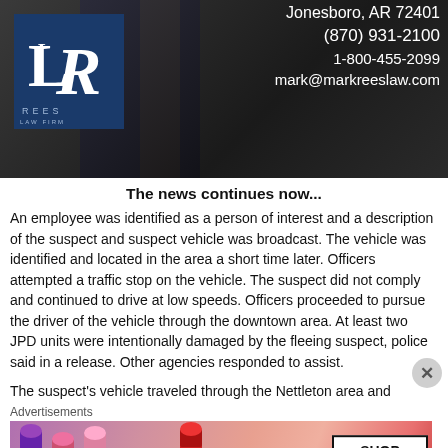[Figure (photo): Law firm advertisement banner showing Rees Law Firm logo on left with contact details: Jonesboro, AR 72401, (870) 931-2100, 1-800-455-2099, mark@markreeslaw.com on right, dark background with suited figure]
The news continues now...
An employee was identified as a person of interest and a description of the suspect and suspect vehicle was broadcast. The vehicle was identified and located in the area a short time later. Officers attempted a traffic stop on the vehicle. The suspect did not comply and continued to drive at low speeds. Officers proceeded to pursue the driver of the vehicle through the downtown area. At least two JPD units were intentionally damaged by the fleeing suspect, police said in a release. Other agencies responded to assist.
The suspect's vehicle traveled through the Nettleton area and
Advertisements
[Figure (photo): MAC cosmetics advertisement showing lipsticks on left, MAC logo in center, and SHOP NOW box on right with white background box]